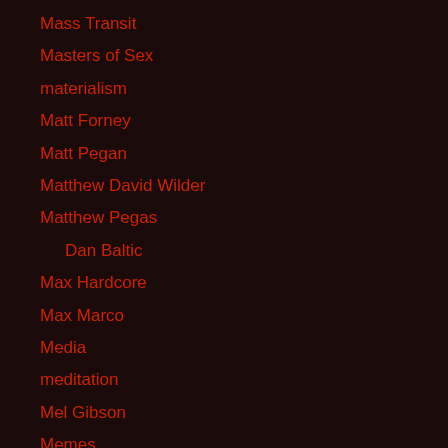Mass Transit
Masters of Sex
materialism
Matt Forney
Matt Pegan
Matthew David Wilder
Matthew Pegas
Dan Baltic
Max Hardcore
Max Marco
Media
meditation
Mel Gibson
Memes
Mental illness